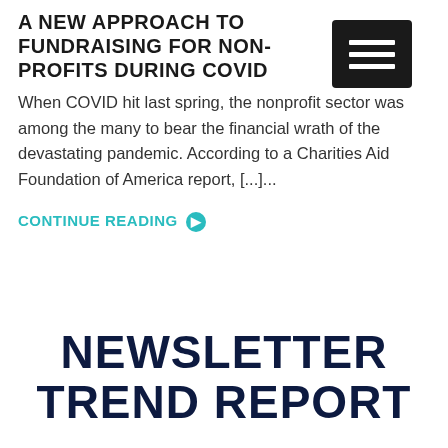A NEW APPROACH TO FUNDRAISING FOR NON-PROFITS DURING COVID
When COVID hit last spring, the nonprofit sector was among the many to bear the financial wrath of the devastating pandemic. According to a Charities Aid Foundation of America report, [...]...
CONTINUE READING >
NEWSLETTER TREND REPORT